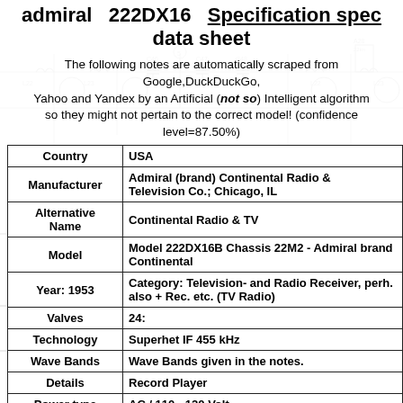admiral   222DX16   Specification spec data sheet
The following notes are automatically scraped from Google,DuckDuckGo, Yahoo and Yandex by an Artificial (not so) Intelligent algorithm so they might not pertain to the correct model! (confidence level=87.50%)
| Field | Value |
| --- | --- |
| Country | USA |
| Manufacturer | Admiral (brand) Continental Radio & Television Co.; Chicago, IL |
| Alternative Name | Continental Radio & TV |
| Model | Model 222DX16B Chassis 22M2 - Admiral brand Continental |
| Year: 1953 | Category: Television- and Radio Receiver, perh. also + Rec. etc. (TV Radio) |
| Valves | 24: |
| Technology | Superhet IF 455 kHz |
| Wave Bands | Wave Bands given in the notes. |
| Details | Record Player |
| Power type | AC / 110 - 120 Volt |